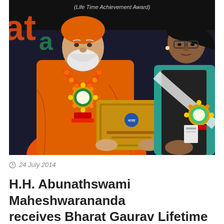[Figure (photo): A man in orange robes and turban with orange flower garland and decorative medallion holds a gold-framed award plaque. A woman in teal jacket and black outfit with a rosette badge stands beside him. A banner in the background reads '(Life Time Achievement Award)'.]
24 July 2014
H.H. Abunathswami Maheshwarananda receives Bharat Gaurav Lifetime